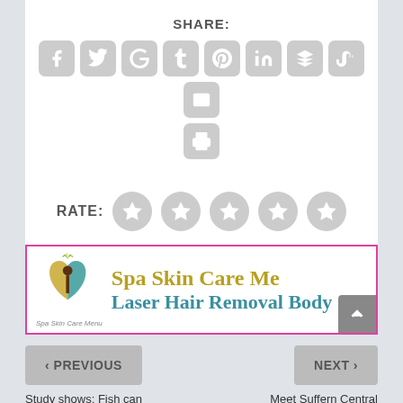SHARE:
[Figure (screenshot): Social share buttons: Facebook, Twitter, Google+, Tumblr, Pinterest, LinkedIn, Buffer, StumbleUpon, Email, Print]
RATE:
[Figure (screenshot): Five star rating circles (empty/grey stars)]
[Figure (screenshot): Advertisement banner for Spa Skin Care Me... with logo and text: Spa Skin Care Me | Laser Hair Removal Body bordered by pink/magenta outline]
< PREVIOUS
NEXT >
Study shows: Fish can calculate
Meet Suffern Central School District Board